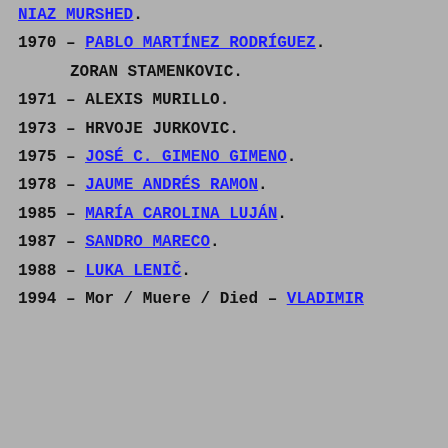NIAZ MURSHED.
1970 – PABLO MARTÍNEZ RODRÍGUEZ.
ZORAN STAMENKOVIC.
1971 – ALEXIS MURILLO.
1973 – HRVOJE JURKOVIC.
1975 – JOSÉ C. GIMENO GIMENO.
1978 – JAUME ANDRÉS RAMON.
1985 – MARÍA CAROLINA LUJÁN.
1987 – SANDRO MARECO.
1988 – LUKA LENIČ.
1994 – Mor / Muere / Died – VLADIMIR